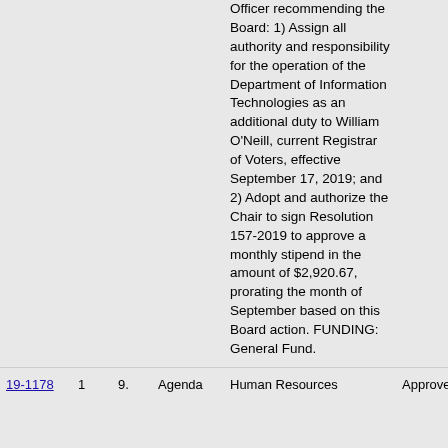| ID |  |  | Type | Description | Status | Vote |
| --- | --- | --- | --- | --- | --- | --- |
|  |  |  |  | Officer recommending the Board: 1) Assign all authority and responsibility for the operation of the Department of Information Technologies as an additional duty to William O'Neill, current Registrar of Voters, effective September 17, 2019; and 2) Adopt and authorize the Chair to sign Resolution 157-2019 to approve a monthly stipend in the amount of $2,920.67, prorating the month of September based on this Board action. FUNDING: General Fund. |  |  |
| 19-1178 | 1 | 9. | Agenda | Human Resources | Approved | Pass |